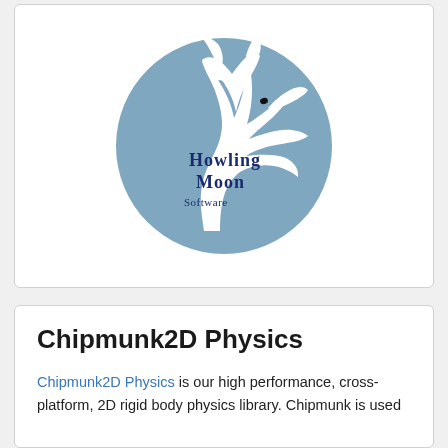[Figure (logo): Howling Moon Software logo: a blue circle with a white howling wolf silhouette and the text 'Howling Moon Software' in dark blue stylized font]
Chipmunk2D Physics
Chipmunk2D Physics is our high performance, cross-platform, 2D rigid body physics library. Chipmunk is used